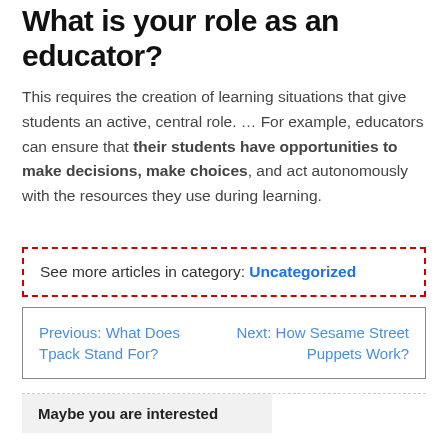What is your role as an educator?
This requires the creation of learning situations that give students an active, central role. … For example, educators can ensure that their students have opportunities to make decisions, make choices, and act autonomously with the resources they use during learning.
See more articles in category: Uncategorized
Previous: What Does Tpack Stand For? | Next: How Sesame Street Puppets Work?
Maybe you are interested